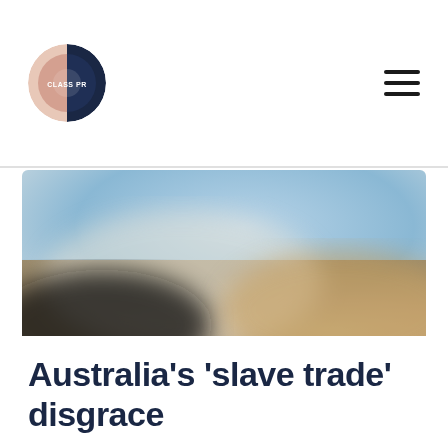[Figure (logo): Class PR logo — circular badge split into pink/beige left half and dark navy right half with text 'CLASS PR' in white]
[Figure (photo): Blurred outdoor landscape photo with blue sky tones in upper portion and warm sandy/brown tones in lower right, with a dark shadowed lower left region]
Australia's 'slave trade' disgrace